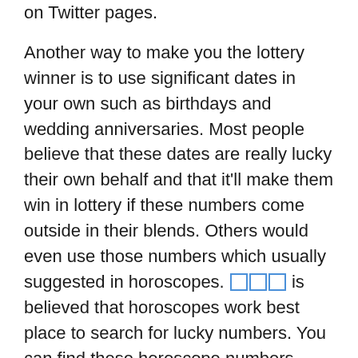on Twitter pages.
Another way to make you the lottery winner is to use significant dates in your own such as birthdays and wedding anniversaries. Most people believe that these dates are really lucky their own behalf and that it'll make them win in lottery if these numbers come outside in their blends. Others would even use those numbers which usually suggested in horoscopes. [link] is believed that horoscopes work best place to search for lucky numbers. You can find these horoscope numbers easily over the net so that you might increase it is likely that hitting the big jackpot and win funds in the lottery.